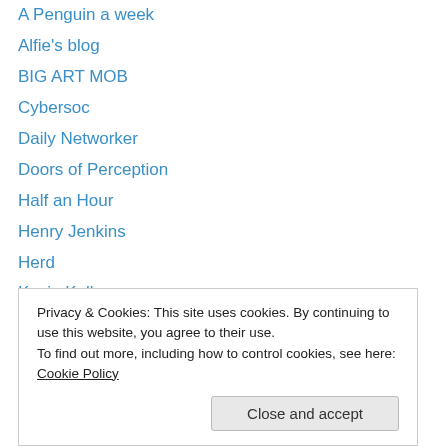A Penguin a week
Alfie's blog
BIG ART MOB
Cybersoc
Daily Networker
Doors of Perception
Half an Hour
Henry Jenkins
Herd
Kevin Kelly
My Scrapbook
OTD: The Official TLA Directory
Russell Davies
Privacy & Cookies: This site uses cookies. By continuing to use this website, you agree to their use. To find out more, including how to control cookies, see here: Cookie Policy
Archives